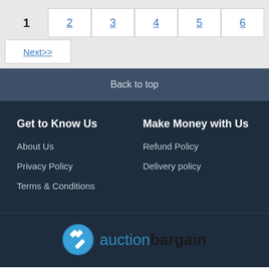1  2  3  4  5  6  Next>>
Back to top
Get to Know Us
Make Money with Us
About Us
Refund Policy
Privacy Policy
Delivery policy
Terms & Conditions
[Figure (logo): auctionbargain logo with gavel icon in blue circle]